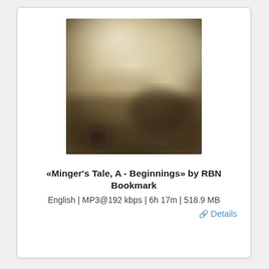[Figure (illustration): Blurred/abstract book cover art with warm beige and dark brown tones, soft blurred shapes suggesting an interior scene]
«Minger's Tale, A - Beginnings» by RBN Bookmark
English | MP3@192 kbps | 6h 17m | 518.9 MB
Details